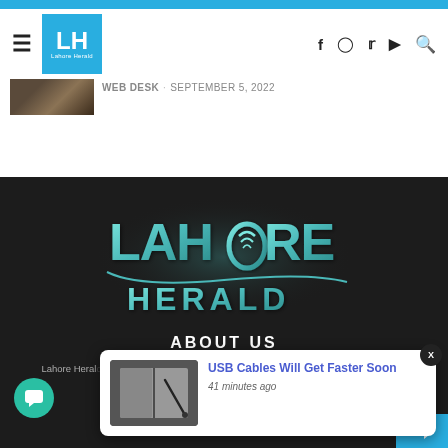Lahore Herald — navigation header with hamburger menu, logo, and social icons (Facebook, Instagram, Twitter, YouTube, Search)
Web Desk · September 5, 2022
[Figure (logo): Lahore Herald 3D teal logo on dark background with text LAHORE HERALD]
ABOUT US
Lahore Herald... relevant and... thoughtf...
[Figure (other): Notification popup card: USB Cables Will Get Faster Soon, 41 minutes ago, with book/cable image thumbnail]